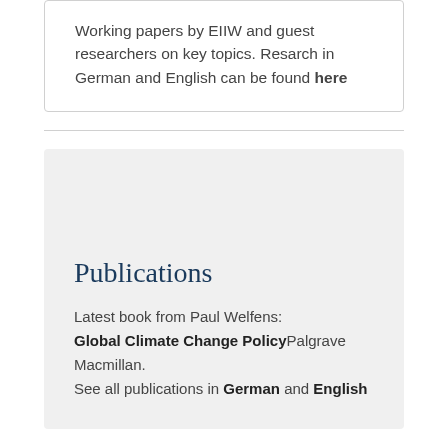Working papers by EIIW and guest researchers on key topics. Resarch in German and English can be found here
Publications
Latest book from Paul Welfens: Global Climate Change Policy Palgrave Macmillan. See all publications in German and English